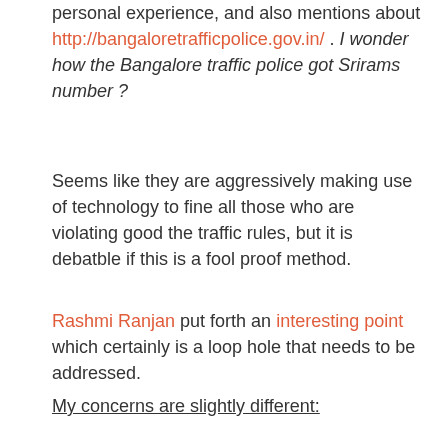personal experience, and also mentions about http://bangaloretrafficpolice.gov.in/ . I wonder how the Bangalore traffic police got Srirams number ?
Seems like they are aggressively making use of technology to fine all those who are violating good the traffic rules, but it is debatble if this is a fool proof method.
Rashmi Ranjan put forth an interesting point which certainly is a loop hole that needs to be addressed.
My concerns are slightly different:
1> If you've lived in Bangalore, then you know how deep the corruption has taken over the system, especially traffic cops, you just know what I mean.